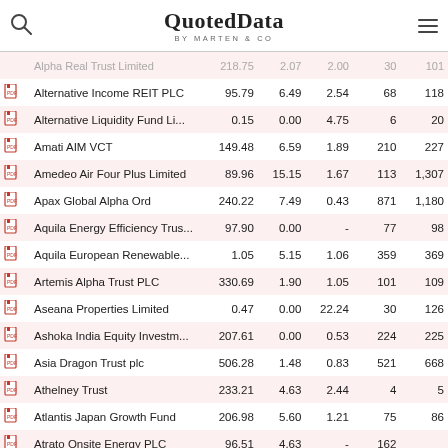QuotedData by MARTEN & CO
|  |  | Name | Price | Yield | Disc/Prem | MCap | GAV |
| --- | --- | --- | --- | --- | --- | --- | --- |
|  |  | Alpha Real Trust Limited | 218.75 | 2.07 | 2.00 | 30 | 101 |
|  |  | Alternative Income REIT PLC | 95.79 | 6.49 | 2.54 | 68 | 118 |
|  |  | Alternative Liquidity Fund Li... | 0.15 | 0.00 | 4.75 | 6 | 20 |
|  |  | Amati AIM VCT | 149.48 | 6.59 | 1.89 | 210 | 227 |
|  |  | Amedeo Air Four Plus Limited | 89.96 | 15.15 | 1.67 | 113 | 1,307 |
|  |  | Apax Global Alpha Ord | 240.22 | 7.49 | 0.43 | 871 | 1,180 |
|  |  | Aquila Energy Efficiency Trus... | 97.90 | 0.00 | - | 77 | 98 |
|  |  | Aquila European Renewable... | 1.05 | 5.15 | 1.06 | 359 | 369 |
|  |  | Artemis Alpha Trust PLC | 330.69 | 1.90 | 1.05 | 101 | 109 |
|  |  | Aseana Properties Limited | 0.47 | 0.00 | 22.24 | 30 | 126 |
|  |  | Ashoka India Equity Investm... | 207.61 | 0.00 | 0.53 | 224 | 225 |
|  |  | Asia Dragon Trust plc | 506.28 | 1.48 | 0.83 | 521 | 668 |
|  |  | Athelney Trust | 233.21 | 4.63 | 2.44 | 4 | 5 |
|  |  | Atlantis Japan Growth Fund | 206.98 | 5.60 | 1.21 | 75 | 86 |
|  |  | Atrato Onsite Energy PLC | 96.51 | 4.63 | - | 162 |  |
|  |  | Atrium European Real Estate... | - | - | 5.31 | - |  |
|  |  | Augmentum Fintech PLC | 155.20 | 0.00 | 1.48 | 201 | 278 |